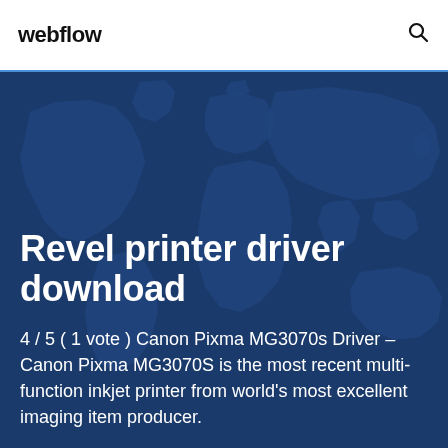webflow
Revel printer driver download
4 / 5 ( 1 vote ) Canon Pixma MG3070s Driver – Canon Pixma MG3070S is the most recent multi-function inkjet printer from world's most excellent imaging item producer.
[Figure (illustration): Dark blue hero background with a world map silhouette pattern in slightly lighter blue]